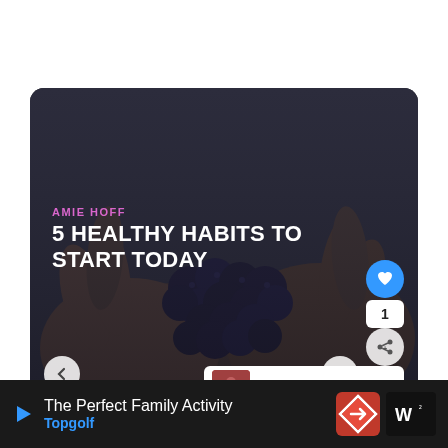[Figure (photo): Hands holding dark blueberries/grapes, dark moody photo used as article card background]
AMIE HOFF
5 HEALTHY HABITS TO START TODAY
WHAT'S NEXT → Your Fitness Questions
The Perfect Family Activity
Topgolf